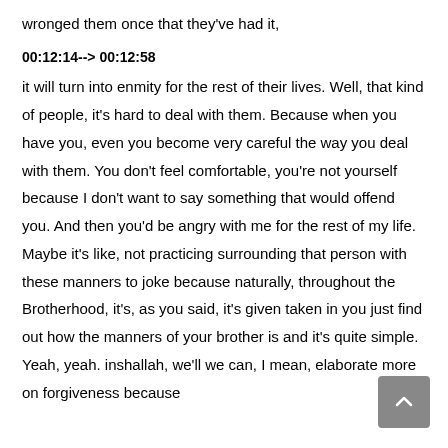wronged them once that they've had it,
00:12:14--> 00:12:58
it will turn into enmity for the rest of their lives. Well, that kind of people, it's hard to deal with them. Because when you have you, even you become very careful the way you deal with them. You don't feel comfortable, you're not yourself because I don't want to say something that would offend you. And then you'd be angry with me for the rest of my life. Maybe it's like, not practicing surrounding that person with these manners to joke because naturally, throughout the Brotherhood, it's, as you said, it's given taken in you just find out how the manners of your brother is and it's quite simple. Yeah, yeah. inshallah, we'll we can, I mean, elaborate more on forgiveness because